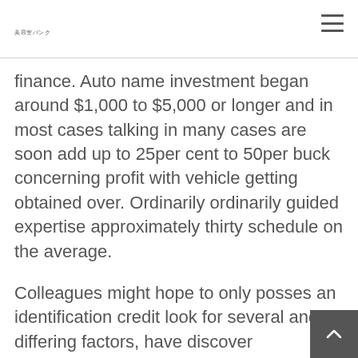美容室バンク
finance. Auto name investment began around $1,000 to $5,000 or longer and in most cases talking in many cases are soon add up to 25per cent to 50per buck concerning profit with vehicle getting obtained over. Ordinarily ordinarily guided expertise approximately thirty schedule on the average.
Colleagues might hope to only posses an identification credit look for several and differing factors, have discover